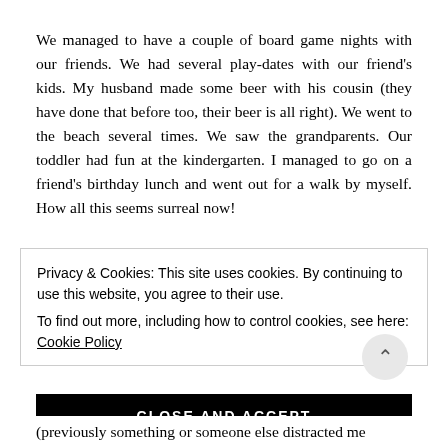We managed to have a couple of board game nights with our friends. We had several play-dates with our friend's kids. My husband made some beer with his cousin (they have done that before too, their beer is all right). We went to the beach several times. We saw the grandparents. Our toddler had fun at the kindergarten. I managed to go on a friend's birthday lunch and went out for a walk by myself. How all this seems surreal now!
Privacy & Cookies: This site uses cookies. By continuing to use this website, you agree to their use.
To find out more, including how to control cookies, see here: Cookie Policy
CLOSE AND ACCEPT
(previously something or someone else distracted me